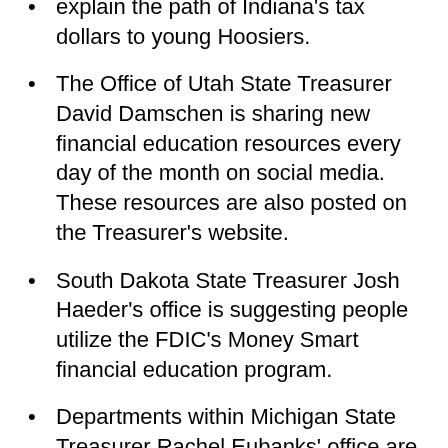explain the path of Indiana's tax dollars to young Hoosiers.
The Office of Utah State Treasurer David Damschen is sharing new financial education resources every day of the month on social media. These resources are also posted on the Treasurer's website.
South Dakota State Treasurer Josh Haeder's office is suggesting people utilize the FDIC's Money Smart financial education program.
Departments within Michigan State Treasurer Rachel Eubanks' office are hosting a